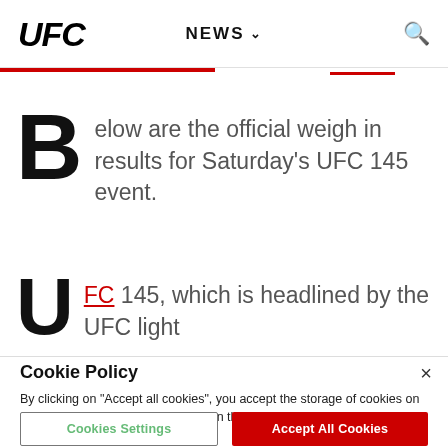UFC  NEWS  🔍
Below are the official weigh in results for Saturday's UFC 145 event.
UFC 145, which is headlined by the UFC light
Cookie Policy
By clicking on "Accept all cookies", you accept the storage of cookies on your device to improve navigation on the site, analyze its use and contribute to our marketing efforts.
Cookies Settings  Accept All Cookies